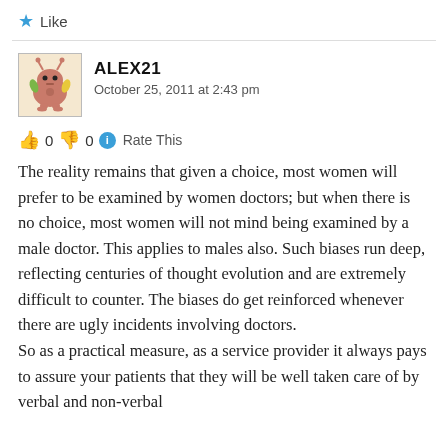★ Like
[Figure (illustration): Avatar illustration of a pink cartoon alien/monster character with antennae and small legs on a beige background, shown in a square bordered frame]
ALEX21
October 25, 2011 at 2:43 pm
👍 0 👎 0 ℹ Rate This
The reality remains that given a choice, most women will prefer to be examined by women doctors; but when there is no choice, most women will not mind being examined by a male doctor. This applies to males also. Such biases run deep, reflecting centuries of thought evolution and are extremely difficult to counter. The biases do get reinforced whenever there are ugly incidents involving doctors.
So as a practical measure, as a service provider it always pays to assure your patients that they will be well taken care of by verbal and non-verbal